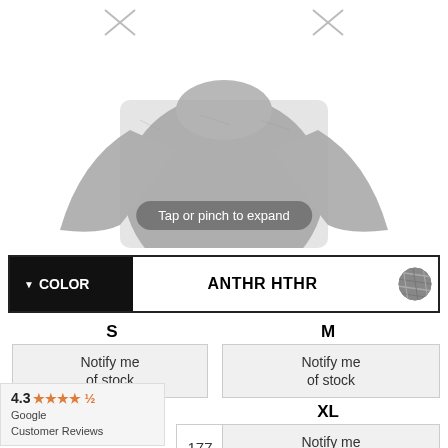[Figure (photo): Gray heather long-sleeve athletic shirt on white background with 'Tap or pinch to expand' overlay button]
Tap or pinch to expand
| COLOR | ANTHR HTHR | swatch |
| --- | --- | --- |
S
M
Notify me of stock
Notify me of stock
L
XL
177
Notify me of stock
4.3 ★★★★½ Google Customer Reviews